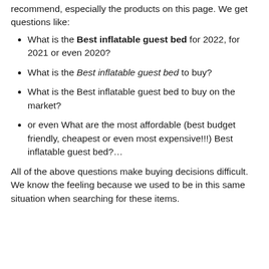recommend, especially the products on this page. We get questions like:
What is the Best inflatable guest bed for 2022, for 2021 or even 2020?
What is the Best inflatable guest bed to buy?
What is the Best inflatable guest bed to buy on the market?
or even What are the most affordable (best budget friendly, cheapest or even most expensive!!!) Best inflatable guest bed?...
All of the above questions make buying decisions difficult. We know the feeling because we used to be in this same situation when searching for these items.